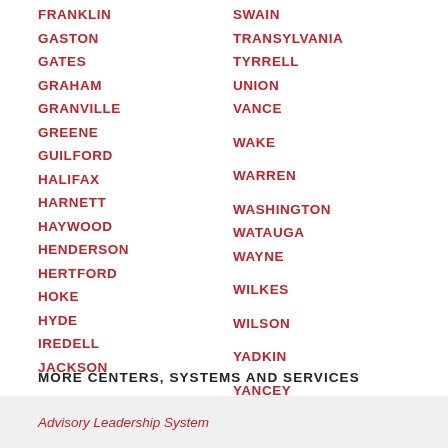FRANKLIN
GASTON
GATES
GRAHAM
GRANVILLE
GREENE
GUILFORD
HALIFAX
HARNETT
HAYWOOD
HENDERSON
HERTFORD
HOKE
HYDE
IREDELL
JACKSON
SWAIN
TRANSYLVANIA
TYRRELL
UNION
VANCE
WAKE
WARREN
WASHINGTON
WATAUGA
WAYNE
WILKES
WILSON
YADKIN
YANCEY
MORE CENTERS, SYSTEMS AND SERVICES
Advisory Leadership System